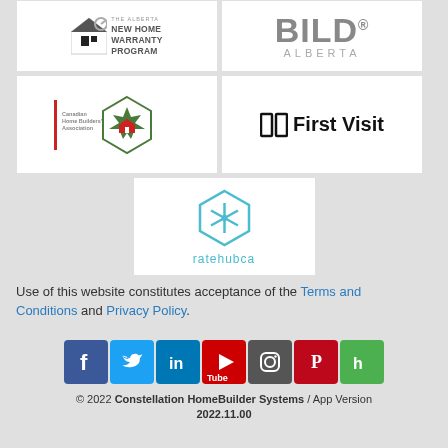[Figure (logo): Alberta New Home Warranty Program logo]
[Figure (logo): BILD Alberta logo]
[Figure (logo): Canadian Home Builders Association logo]
[Figure (logo): First Visit logo]
[Figure (logo): ratehub.ca logo]
Use of this website constitutes acceptance of the Terms and Conditions and Privacy Policy.
[Figure (infographic): Social media icons: Facebook, Twitter, LinkedIn, YouTube, Instagram, Pinterest, Houzz]
© 2022 Constellation HomeBuilder Systems / App Version 2022.11.00